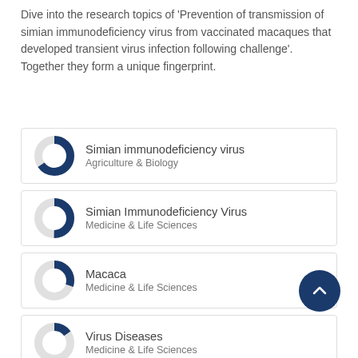Dive into the research topics of 'Prevention of transmission of simian immunodeficiency virus from vaccinated macaques that developed transient virus infection following challenge'. Together they form a unique fingerprint.
[Figure (donut-chart): Donut chart ~90% filled blue - Simian immunodeficiency virus, Agriculture & Biology]
[Figure (donut-chart): Donut chart ~75% filled blue - Simian Immunodeficiency Virus, Medicine & Life Sciences]
[Figure (donut-chart): Donut chart ~55% filled blue - Macaca, Medicine & Life Sciences]
[Figure (donut-chart): Donut chart ~40% filled blue - Virus Diseases, Medicine & Life Sciences]
[Figure (donut-chart): Donut chart partially visible - Viruses]